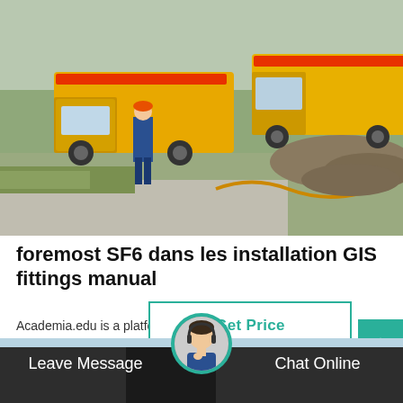[Figure (photo): Outdoor scene with yellow utility/service trucks and a worker in blue overalls and orange hard hat on a road construction or utility installation site. Construction equipment and gravel mounds visible in background.]
foremost SF6 dans les installation GIS fittings manual
Academia.edu is a platform for academics to share research papers.
[Figure (other): Get Price button with teal/green border]
Leave Message   Chat Online